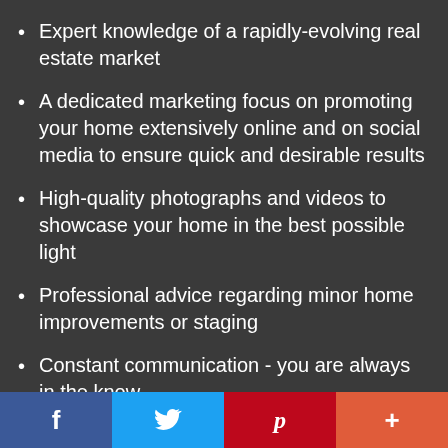Expert knowledge of a rapidly-evolving real estate market
A dedicated marketing focus on promoting your home extensively online and on social media to ensure quick and desirable results
High-quality photographs and videos to showcase your home in the best possible light
Professional advice regarding minor home improvements or staging
Constant communication - you are always in the know
First-class client care
f  Twitter  p  +